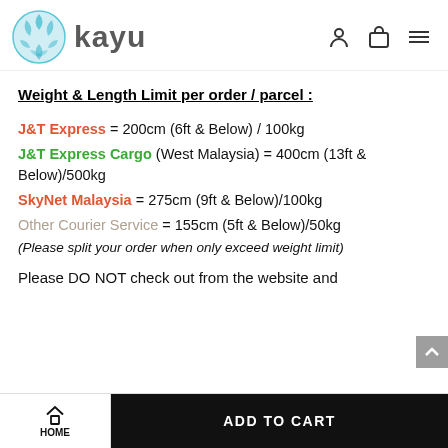kayu
Weight & Length Limit per order / parcel :
J&T Express = 200cm (6ft & Below) / 100kg
J&T Express Cargo (West Malaysia) = 400cm (13ft & Below)/500kg
SkyNet Malaysia = 275cm (9ft & Below)/100kg
Other Courier Service = 155cm (5ft & Below)/50kg
(Please split your order when only exceed weight limit)
Please DO NOT check out from the website and
HOME | ADD TO CART